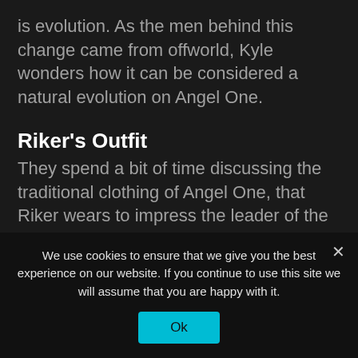is evolution. As the men behind this change came from offworld, Kyle wonders how it can be considered a natural evolution on Angel One.
Riker's Outfit
They spend a bit of time discussing the traditional clothing of Angel One, that Riker wears to impress the leader of the planet.
Katie was not happy with Troi and Tasha Yar's attitude toward Riker's outfit. She felt that their
We use cookies to ensure that we give you the best experience on our website. If you continue to use this site we will assume that you are happy with it.